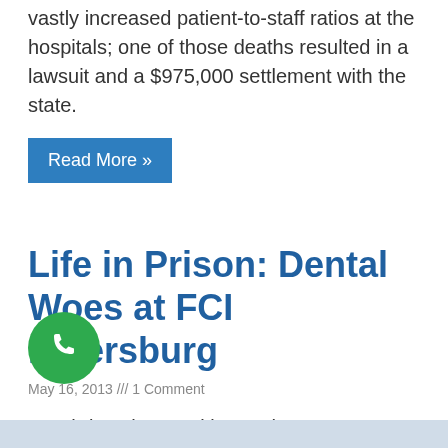vastly increased patient-to-staff ratios at the hospitals; one of those deaths resulted in a lawsuit and a $975,000 settlement with the state.
Read More »
Life in Prison: Dental Woes at FCI Petersburg
May 16, 2013 /// 1 Comment
By Christopher Zoukis For the past year I have been seeking meaningful dental care.  This isn't to say that I've only been seeking it for the past year, but that the current matter has been on my plate for the past year.  Thus, my teeth hurt. The